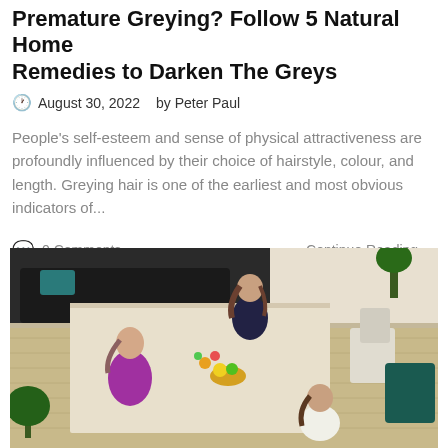Premature Greying? Follow 5 Natural Home Remedies to Darken The Greys
August 30, 2022    by Peter Paul
People's self-esteem and sense of physical attractiveness are profoundly influenced by their choice of hairstyle, colour, and length. Greying hair is one of the earliest and most obvious indicators of...
0 Comments    Continue Reading →
[Figure (photo): Overhead view of three women sitting at a long table in a bright, modern space with wooden floors and plants. One woman wears a purple top, another dark clothing, and the third a light top. There are papers, flowers, and a bowl of fruit on the table.]